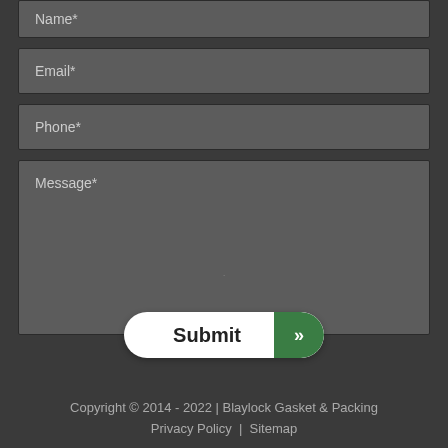Name*
Email*
Phone*
Message*
Submit »
Copyright © 2014 - 2022 | Blaylock Gasket & Packing
Privacy Policy | Sitemap